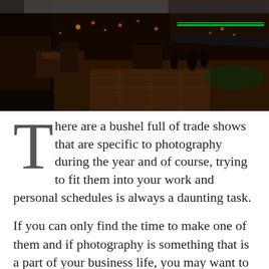[Figure (photo): Panoramic nighttime photo of an outdoor venue or trade show floor with green neon lighting, dark ambiance, seating areas, and a canopy structure visible.]
There are a bushel full of trade shows that are specific to photography during the year and of course, trying to fit them into your work and personal schedules is always a daunting task.
If you can only find the time to make one of them and if photography is something that is a part of your business life, you may want to